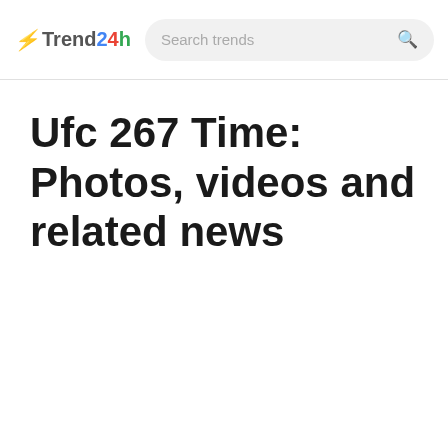Trend24h — Search trends
Ufc 267 Time: Photos, videos and related news